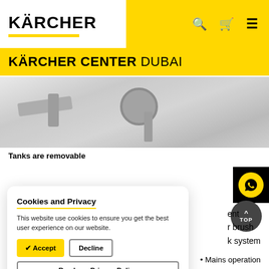[Figure (logo): Kärcher logo with yellow underline bar]
KÄRCHER CENTER DUBAI
[Figure (photo): Grayscale product image showing removable tanks with faucet/tap components]
Tanks are removable
[Figure (other): WhatsApp contact button - yellow phone icon on black background]
Cookies and Privacy
This website use cookies to ensure you get the best user experience on our website.
✔ Accept   Decline
Read our Privacy Policy
ent
r brush
nk system
Mains operation
50